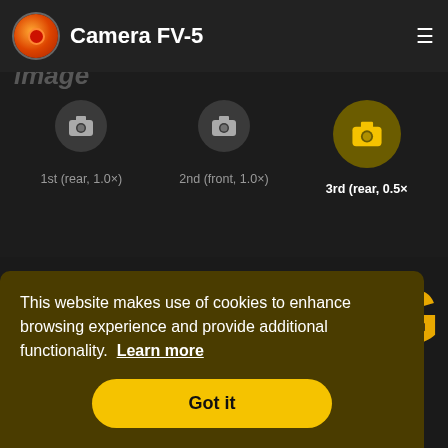Camera FV-5
image
[Figure (screenshot): Camera selector strip showing three camera options: 1st (rear, 1.0×), 2nd (front, 1.0×), 3rd (rear, 0.5×) with camera icons]
[Figure (screenshot): Dark app content area with partial Google G logo visible in yellow/gold color]
This website makes use of cookies to enhance browsing experience and provide additional functionality.  Learn more
Got it